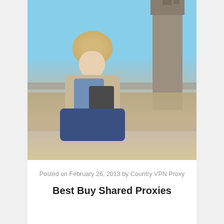[Figure (photo): Woman with curly blonde hair sitting cross-legged on a stone ledge by the River Thames, holding a tablet device, with Tower Bridge visible in the background under a blue sky.]
Posted on February 26, 2013 by Country VPN Proxy
Best Buy Shared Proxies